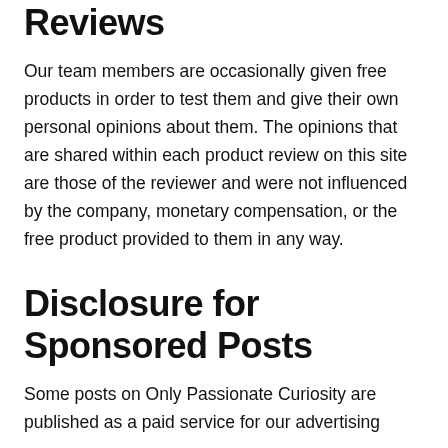Reviews
Our team members are occasionally given free products in order to test them and give their own personal opinions about them. The opinions that are shared within each product review on this site are those of the reviewer and were not influenced by the company, monetary compensation, or the free product provided to them in any way.
Disclosure for Sponsored Posts
Some posts on Only Passionate Curiosity are published as a paid service for our advertising